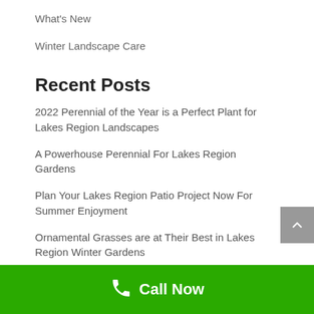What's New
Winter Landscape Care
Recent Posts
2022 Perennial of the Year is a Perfect Plant for Lakes Region Landscapes
A Powerhouse Perennial For Lakes Region Gardens
Plan Your Lakes Region Patio Project Now For Summer Enjoyment
Ornamental Grasses are at Their Best in Lakes Region Winter Gardens
Plant Spring Bulbs Now in Lakes Region NH Gardens
Join Our Newsletter
Call Now